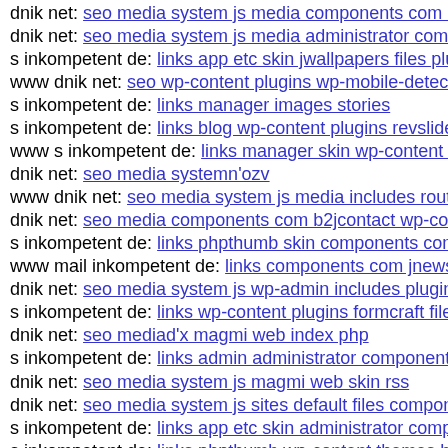dnik net: seo media system js media components com mai...
dnik net: seo media system js media administrator compon...
s inkompetent de: links app etc skin jwallpapers files pluph...
www dnik net: seo wp-content plugins wp-mobile-detecto...
s inkompetent de: links manager images stories
s inkompetent de: links blog wp-content plugins revslider s...
www s inkompetent de: links manager skin wp-content plu...
dnik net: seo media systemn'ozv
www dnik net: seo media system js media includes routing...
dnik net: seo media components com b2jcontact wp-conte...
s inkompetent de: links phpthumb skin components com b...
www mail inkompetent de: links components com jnews i...
dnik net: seo media system js wp-admin includes plugins c...
s inkompetent de: links wp-content plugins formcraft file-u...
dnik net: seo mediad'x magmi web index php
s inkompetent de: links admin administrator components c...
dnik net: seo media system js magmi web skin rss
dnik net: seo media system js sites default files component...
s inkompetent de: links app etc skin administrator compon...
s inkompetent de: links phpthumb wp-content themes baza...
www dnik net: seo media tmp plupload dnik net...